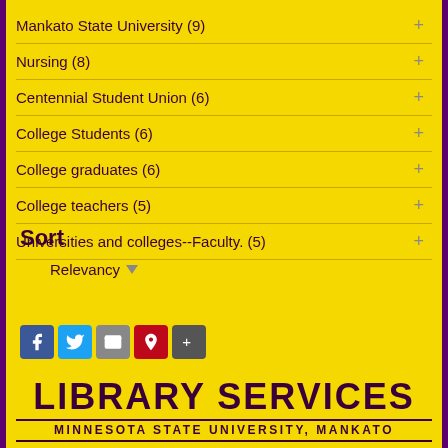Mankato State University (9)
Nursing (8)
Centennial Student Union (6)
College Students (6)
College graduates (6)
College teachers (5)
Universities and colleges--Faculty. (5)
Sort
Relevancy
[Figure (other): Social sharing icons: Facebook, Twitter, Email/Print, Pinterest, More (+)]
LIBRARY SERVICES
MINNESOTA STATE UNIVERSITY, MANKATO